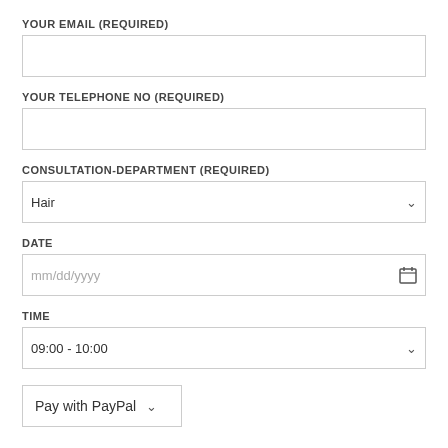YOUR EMAIL (REQUIRED)
YOUR TELEPHONE NO (REQUIRED)
CONSULTATION-DEPARTMENT (REQUIRED)
Hair
DATE
mm/dd/yyyy
TIME
09:00 - 10:00
Pay with PayPal